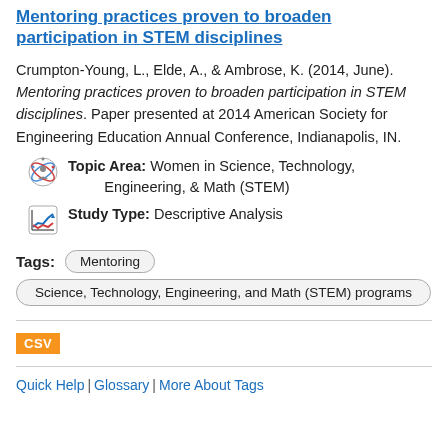Mentoring practices proven to broaden participation in STEM disciplines
Crumpton-Young, L., Elde, A., & Ambrose, K. (2014, June). Mentoring practices proven to broaden participation in STEM disciplines. Paper presented at 2014 American Society for Engineering Education Annual Conference, Indianapolis, IN.
Topic Area: Women in Science, Technology, Engineering, & Math (STEM)
Study Type: Descriptive Analysis
Tags: Mentoring | Science, Technology, Engineering, and Math (STEM) programs
Quick Help | Glossary | More About Tags